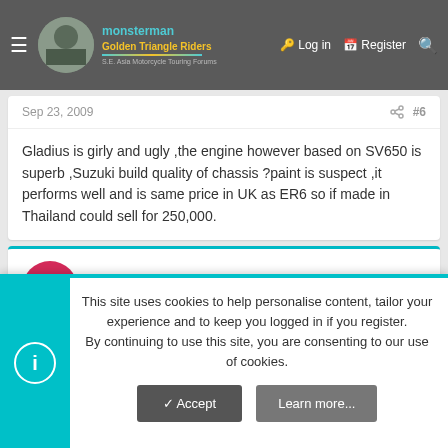monsterman — Golden Triangle Riders | Log in | Register
Sep 23, 2009  #6
Gladius is girly and ugly ,the engine however based on SV650 is superb ,Suzuki build quality of chassis ?paint is suspect ,it performs well and is same price in UK as ER6 so if made in Thailand could sell for 250,000.
Franz
Ol'Timer
Sep 26, 2009  #7
This site uses cookies to help personalise content, tailor your experience and to keep you logged in if you register.
By continuing to use this site, you are consenting to our use of cookies.